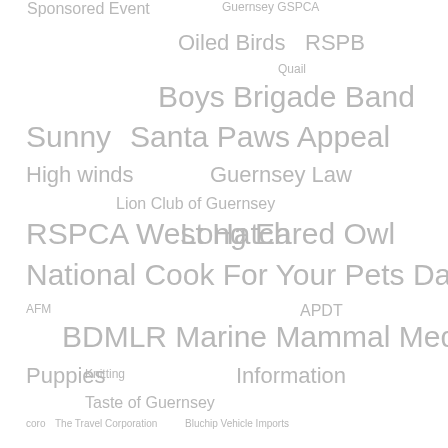[Figure (infographic): Tag cloud / word cloud containing various terms related to animal welfare, events, and organizations in Guernsey. Terms vary in font size indicating frequency or importance. All text is in gray color on white background. Terms include: Sponsored Event, Guernsey GSPCA, Oiled Birds, RSPB, Quail, Boys Brigade Band, Sunny, Santa Paws Appeal, High winds, Guernsey Law, Lion Club of Guernsey, RSPCA West Hatch, Long Eared Owl, National Cook For Your Pets Day, AFM, APDT, BDMLR Marine Mammal Medic, Puppies, Knitting, Information, Taste of Guernsey, coro, The Travel Corporation, Bluchip Vehicle Imports, Swansea University, Sponsored Walk, BBC, Guernsey Pet Portraits, Games, St Martins Primary School, Volunteer Induction Evening, Port Soif, Rabbits, Covid-19, Parking]